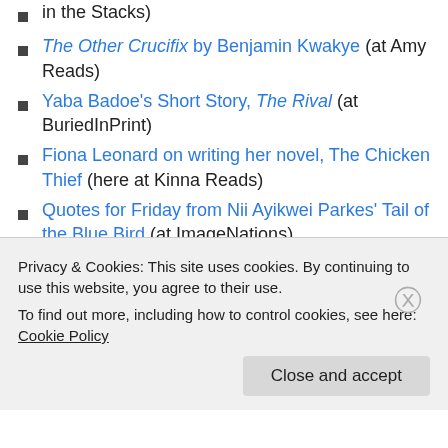in the Stacks)
The Other Crucifix by Benjamin Kwakye (at Amy Reads)
Yaba Badoe's Short Story, The Rival (at BuriedInPrint)
Fiona Leonard on writing her novel, The Chicken Thief (here at Kinna Reads)
Quotes for Friday from Nii Ayikwei Parkes' Tail of the Blue Bird (at ImageNations)
African Love Stories edited by Ama Ata Aidoo (at Amy Reads)
Tail of a Blue Bird by Nii Ayikwei Parkes (at Opinions of
Privacy & Cookies: This site uses cookies. By continuing to use this website, you agree to their use.
To find out more, including how to control cookies, see here: Cookie Policy
Close and accept